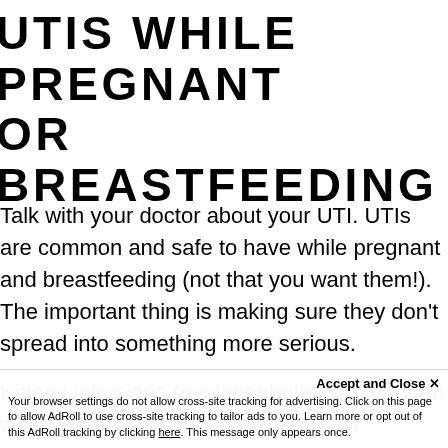UTIS WHILE PREGNANT OR BREASTFEEDING
Talk with your doctor about your UTI. UTIs are common and safe to have while pregnant and breastfeeding (not that you want them!). The important thing is making sure they don't spread into something more serious.
Kidney infections (pyelonephritis) can happen when your UTI is not taken care of or because your urine is not being properly drained from the kidney to the bladder due to pressure from pregnancy and hormones. Pyelonephritis can a…
Accept and Close ✕ Your browser settings do not allow cross-site tracking for advertising. Click on this page to allow AdRoll to use cross-site tracking to tailor ads to you. Learn more or opt out of this AdRoll tracking by clicking here. This message only appears once.